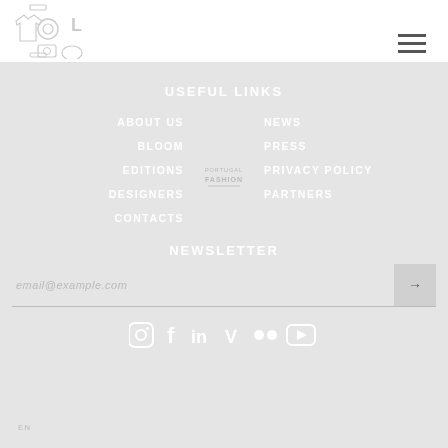[Figure (logo): Portugal Fashion logo with camera and clothing icons in header]
[Figure (illustration): Hamburger menu icon (three horizontal lines) in top right of header]
USEFUL LINKS
ABOUT US
BLOOM
EDITIONS
DESIGNERS
CONTACTS
[Figure (logo): Portugal Fashion logo centered between nav columns]
NEWS
PRESS
PRIVACY POLICY
PARTNERS
NEWSLETTER
email@example.com
EN
[Figure (illustration): Social media icons row: Instagram, Facebook, LinkedIn, Vimeo, Flickr, YouTube]